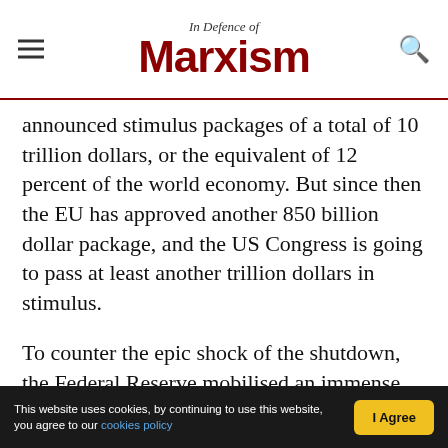In Defence of Marxism
announced stimulus packages of a total of 10 trillion dollars, or the equivalent of 12 percent of the world economy. But since then the EU has approved another 850 billion dollar package, and the US Congress is going to pass at least another trillion dollars in stimulus.
To counter the epic shock of the shutdown, the Federal Reserve mobilised an immense amount of liquidity. In the seven years following the 2008 crash, the Fed in several rounds bought around 3.5 trillion dollars worth of assets. In just three months of this crisis, the central bank bought 3 trillion
This website uses cookies, by continuing to use this website, you agree to our cookies policy | I Agree